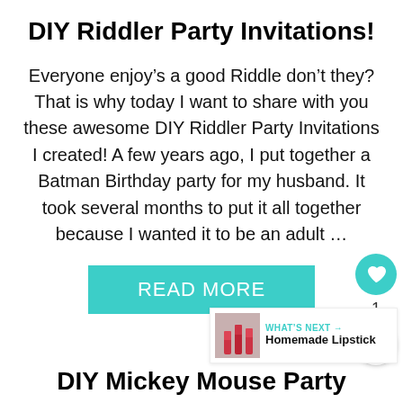DIY Riddler Party Invitations!
Everyone enjoy’s a good Riddle don’t they? That is why today I want to share with you these awesome DIY Riddler Party Invitations I created! A few years ago, I put together a Batman Birthday party for my husband. It took several months to put it all together because I wanted it to be an adult …
READ MORE
DIY Mickey Mouse Party